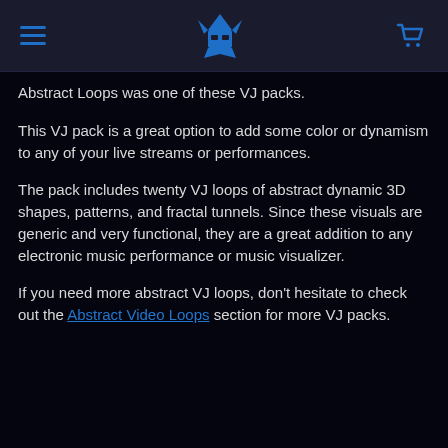[Navigation header with hamburger menu, logo, and cart icon]
Abstract Loops was one of these VJ packs.
This VJ pack is a great option to add some color or dynamism to any of your live streams or performances.
The pack includes twenty VJ loops of abstract dynamic 3D shapes, patterns, and fractal tunnels. Since these visuals are generic and very functional, they are a great addition to any electronic music performance or music visualizer.
If you need more abstract VJ loops, don't hesitate to check out the Abstract Video Loops section for more VJ packs.